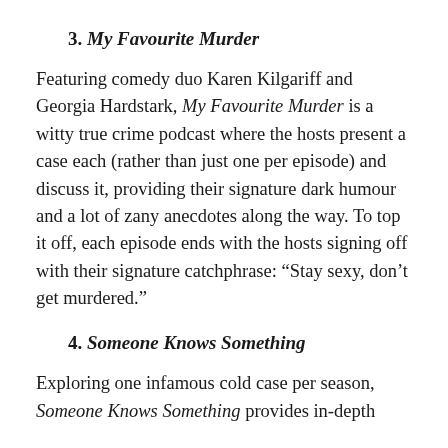3. My Favourite Murder
Featuring comedy duo Karen Kilgariff and Georgia Hardstark, My Favourite Murder is a witty true crime podcast where the hosts present a case each (rather than just one per episode) and discuss it, providing their signature dark humour and a lot of zany anecdotes along the way. To top it off, each episode ends with the hosts signing off with their signature catchphrase: “Stay sexy, don’t get murdered.”
4. Someone Knows Something
Exploring one infamous cold case per season, Someone Knows Something provides in-depth